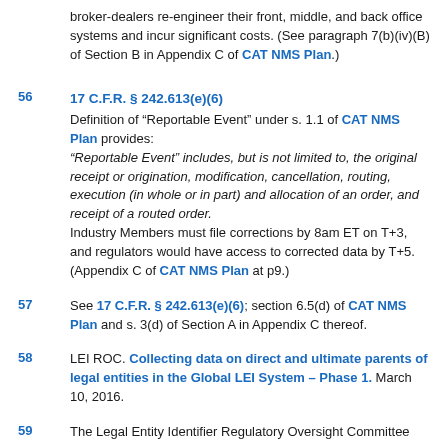broker-dealers re-engineer their front, middle, and back office systems and incur significant costs. (See paragraph 7(b)(iv)(B) of Section B in Appendix C of CAT NMS Plan.)
56   17 C.F.R. § 242.613(e)(6)
Definition of “Reportable Event” under s. 1.1 of CAT NMS Plan provides:
“Reportable Event” includes, but is not limited to, the original receipt or origination, modification, cancellation, routing, execution (in whole or in part) and allocation of an order, and receipt of a routed order.
Industry Members must file corrections by 8am ET on T+3, and regulators would have access to corrected data by T+5. (Appendix C of CAT NMS Plan at p9.)
57   See 17 C.F.R. § 242.613(e)(6); section 6.5(d) of CAT NMS Plan and s. 3(d) of Section A in Appendix C thereof.
58   LEI ROC. Collecting data on direct and ultimate parents of legal entities in the Global LEI System – Phase 1. March 10, 2016.
59   The Legal Entity Identifier Regulatory Oversight Committee